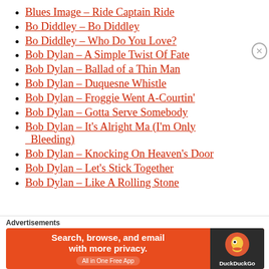Blues Image – Ride Captain Ride
Bo Diddley – Bo Diddley
Bo Diddley – Who Do You Love?
Bob Dylan – A Simple Twist Of Fate
Bob Dylan – Ballad of a Thin Man
Bob Dylan – Duquesne Whistle
Bob Dylan – Froggie Went A-Courtin'
Bob Dylan – Gotta Serve Somebody
Bob Dylan – It's Alright Ma (I'm Only Bleeding)
Bob Dylan – Knocking On Heaven's Door
Bob Dylan – Let's Stick Together
Bob Dylan – Like A Rolling Stone
[Figure (infographic): DuckDuckGo advertisement banner: orange background with text 'Search, browse, and email with more privacy. All in One Free App' and DuckDuckGo logo on dark background on the right side.]